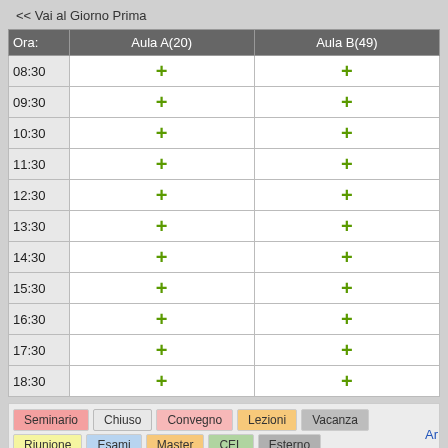<< Vai al Giorno Prima
| Ora: | Aula A(20) | Aula B(49) |
| --- | --- | --- |
| 08:30 | + | + |
| 09:30 | + | + |
| 10:30 | + | + |
| 11:30 | + | + |
| 12:30 | + | + |
| 13:30 | + | + |
| 14:30 | + | + |
| 15:30 | + | + |
| 16:30 | + | + |
| 17:30 | + | + |
| 18:30 | + | + |
Seminario | Chiuso | Convegno | Lezioni | Vacanza | Riunione | Esami | Master | CEL | Esterno
Vedi Giorno: 15 Oct | 16 Oct | 17 Oct | 18 Oct | 19 Oct | 20 Oct | 21 Oct...
Vedi Settimana: 19 Sep | 26 Sep | 03 Oct | 10 Oct | 17 Oct | 24 Oct | 31...
Vedi Mese: Aug 2022 | Sep 2022 | Oct 2022 | Nov 2022 | Dec 2022 | Jan...